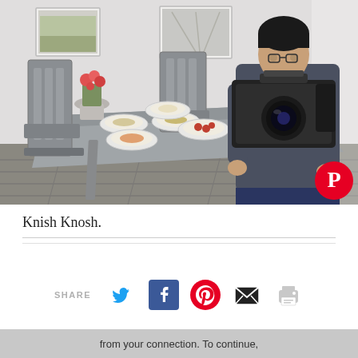[Figure (photo): A person holding a professional video/photo camera, leaning over a restaurant table set with multiple dishes in white bowls. The room has grey chairs, potted flowers with pink blooms, and vintage framed photos on a white wall. A Pinterest icon badge appears in the lower right of the image.]
Knish Knosh.
SHARE
from your connection. To continue,